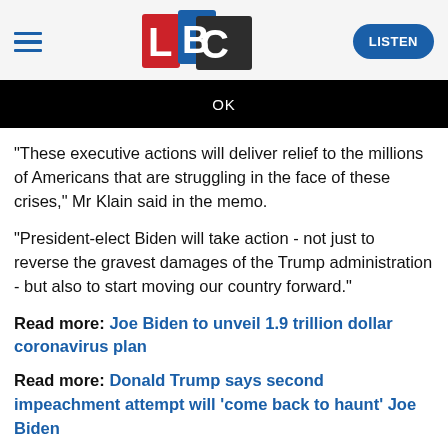[Figure (logo): LBC radio logo with red L, blue BC letters on colored background squares]
OK
"These executive actions will deliver relief to the millions of Americans that are struggling in the face of these crises," Mr Klain said in the memo.
"President-elect Biden will take action - not just to reverse the gravest damages of the Trump administration - but also to start moving our country forward."
Read more: Joe Biden to unveil 1.9 trillion dollar coronavirus plan
Read more: Donald Trump says second impeachment attempt will 'come back to haunt' Joe Biden
Incoming White House communications director Kate